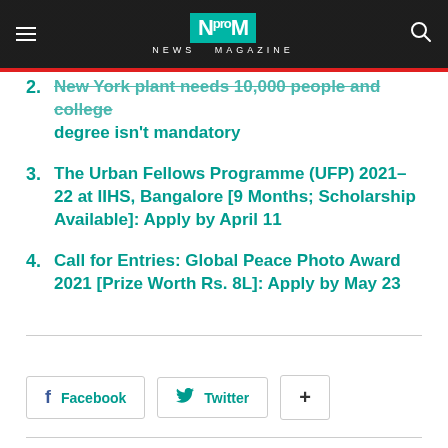NEWS MAGAZINE
2. New York plant needs 10,000 people and college degree isn't mandatory
3. The Urban Fellows Programme (UFP) 2021-22 at IIHS, Bangalore [9 Months; Scholarship Available]: Apply by April 11
4. Call for Entries: Global Peace Photo Award 2021 [Prize Worth Rs. 8L]: Apply by May 23
Facebook  Twitter  +